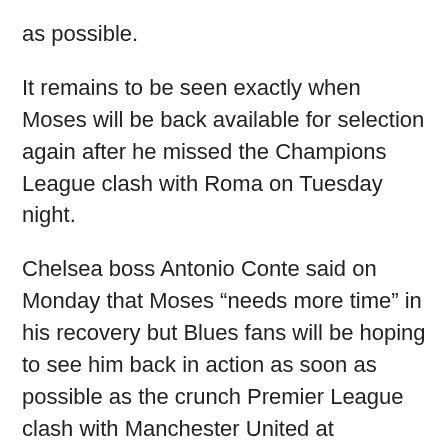as possible.
It remains to be seen exactly when Moses will be back available for selection again after he missed the Champions League clash with Roma on Tuesday night.
Chelsea boss Antonio Conte said on Monday that Moses “needs more time” in his recovery but Blues fans will be hoping to see him back in action as soon as possible as the crunch Premier League clash with Manchester United at Stamford Bridge looms large on Sunday.
Now, the player himself has updated fans on his